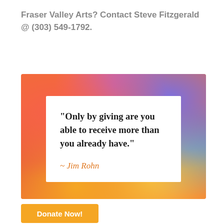Fraser Valley Arts? Contact Steve Fitzgerald @ (303) 549-1792.
[Figure (illustration): Colorful abstract watercolor-style background with vibrant reds, oranges, pinks, purples, and blues. A white card in the center contains a bold serif quote: "Only by giving are you able to receive more than you already have." attributed to Jim Rohn in orange italic text.]
Donate Now!